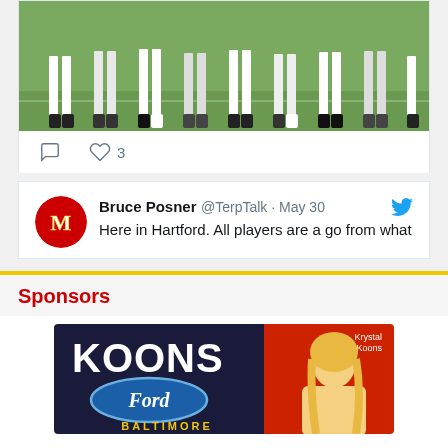[Figure (photo): Photo of lacrosse players standing on a grass field, showing legs and shoes cropped at waist level]
♡ 3
[Figure (photo): Maryland Terrapins logo avatar for Bruce Posner]
Bruce Posner @TerpTalk · May 30
Here in Hartford. All players are a go from what
Sponsors
[Figure (logo): Koons Ford Baltimore advertisement with blonde woman (Krystal Koons) on right side]
[Figure (logo): VIEN3R4GATES logo with Maryland flag colors bar and red arrows]
[Figure (logo): Saiontz & Kirk PA logo with SK initials box and www.YouHaveALawyer.com URL]